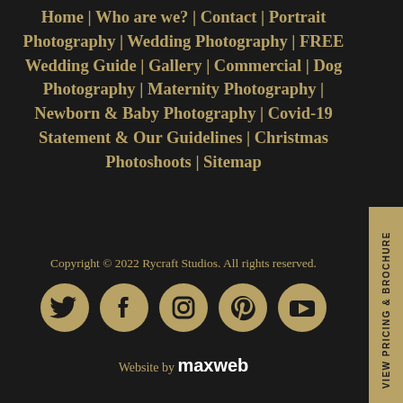Home | Who are we? | Contact | Portrait Photography | Wedding Photography | FREE Wedding Guide | Gallery | Commercial | Dog Photography | Maternity Photography | Newborn & Baby Photography | Covid-19 Statement & Our Guidelines | Christmas Photoshoots | Sitemap
Copyright © 2022 Rycraft Studios. All rights reserved.
[Figure (other): Social media icons: Twitter, Facebook, Instagram, Pinterest, YouTube]
Website by maxweb
VIEW PRICING & BROCHURE